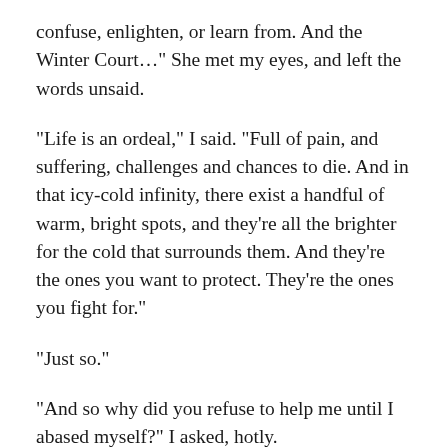confuse, enlighten, or learn from. And the Winter Court…" She met my eyes, and left the words unsaid.
“Life is an ordeal,” I said. “Full of pain, and suffering, challenges and chances to die. And in that icy-cold infinity, there exist a handful of warm, bright spots, and they’re all the brighter for the cold that surrounds them. And they’re the ones you want to protect. They’re the ones you fight for.”
“Just so.”
“And so why did you refuse to help me until I abased myself?” I asked, hotly.
“Pride is a terrible thing in the cold. If you would do that, if you would rather keep your pride than solve an issue that faces us all, if the uttering of a